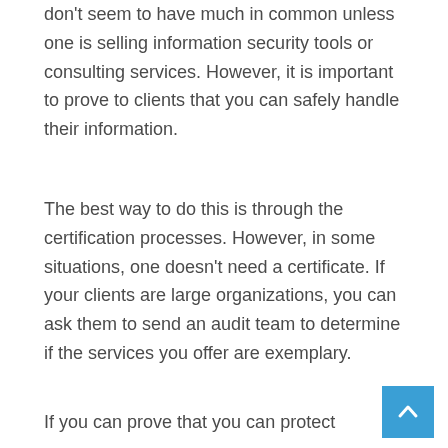don't seem to have much in common unless one is selling information security tools or consulting services. However, it is important to prove to clients that you can safely handle their information.
The best way to do this is through the certification processes. However, in some situations, one doesn't need a certificate. If your clients are large organizations, you can ask them to send an audit team to determine if the services you offer are exemplary.
If you can prove that you can protect